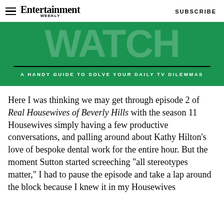Entertainment Weekly — SUBSCRIBE
[Figure (illustration): Green banner with large faded 'WATCH' text, a horizontal black divider line, and subtitle text 'A HANDY GUIDE TO SOLVE YOUR DAILY TV DILEMMAS']
Here I was thinking we may get through episode 2 of Real Housewives of Beverly Hills with the season 11 Housewives simply having a few productive conversations, and palling around about Kathy Hilton's love of bespoke dental work for the entire hour. But the moment Sutton started screeching "all stereotypes matter," I had to pause the episode and take a lap around the block because I knew it in my Housewives